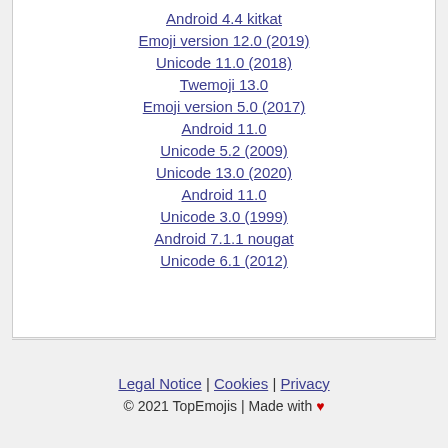Android 4.4 kitkat
Emoji version 12.0 (2019)
Unicode 11.0 (2018)
Twemoji 13.0
Emoji version 5.0 (2017)
Android 11.0
Unicode 5.2 (2009)
Unicode 13.0 (2020)
Android 11.0
Unicode 3.0 (1999)
Android 7.1.1 nougat
Unicode 6.1 (2012)
Legal Notice | Cookies | Privacy
© 2021 TopEmojis | Made with ♥